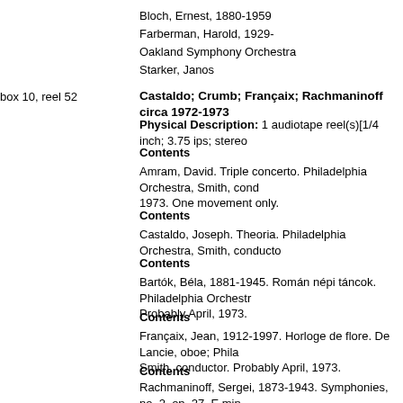Bloch, Ernest, 1880-1959
Farberman, Harold, 1929-
Oakland Symphony Orchestra
Starker, Janos
Castaldo; Crumb; Françaix; Rachmaninoff circa 1972-1973
Physical Description: 1 audiotape reel(s)[1/4 inch; 3.75 ips; stereo
Contents
Amram, David. Triple concerto. Philadelphia Orchestra, Smith, cond 1973. One movement only.
Contents
Castaldo, Joseph. Theoria. Philadelphia Orchestra, Smith, conducto
Contents
Bartók, Béla, 1881-1945. Román népi táncok. Philadelphia Orchestr Probably April, 1973.
Contents
Françaix, Jean, 1912-1997. Horloge de flore. De Lancie, oboe; Phila Smith, conductor. Probably April, 1973.
Contents
Rachmaninoff, Sergei, 1873-1943. Symphonies, no. 2, op. 27, E min Symphony Orchestra, Ceccato, conductor. Live. Quadraphonic. Ma